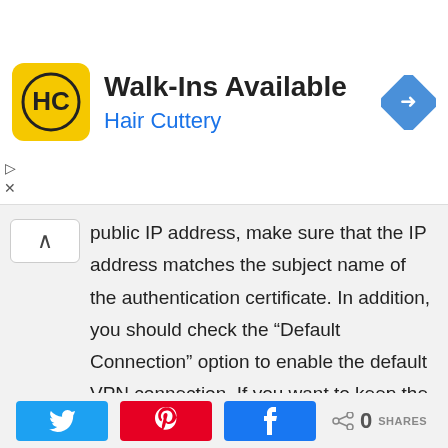[Figure (screenshot): Hair Cuttery advertisement banner with logo, 'Walk-Ins Available' heading, and navigation icon]
public IP address, make sure that the IP address matches the subject name of the authentication certificate. In addition, you should check the “Default Connection” option to enable the default VPN connection. If you want to keep the VPN connected automatically, select the “Always On” option.
After installing the OpenVPN Access